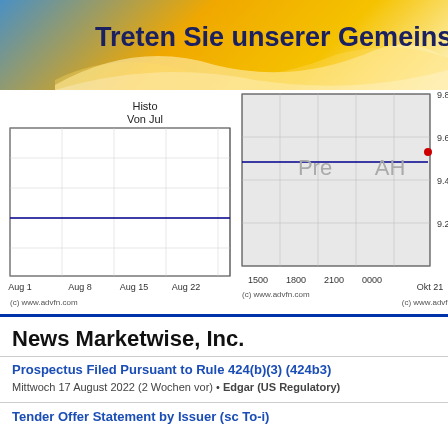[Figure (other): Banner with gradient background (blue, gold/yellow, white flame effect) and partial German text 'Treten Sie unserer Gemeinsc...']
[Figure (continuous-plot): Stock chart showing historical price data with 'Histo Von Jul' label on left chart, and intraday chart with Pre and AH (pre-market/after-hours) labels. Y-axis shows values 9.2, 9.4, 9.6, 9.8. X-axis on left shows Aug 1, Aug 8, Aug 15, Aug 22; right chart shows time 1500, 1800, 2100, 0000 and date Okt 21. Source: (c) www.advfn.com]
News Marketwise, Inc.
Prospectus Filed Pursuant to Rule 424(b)(3) (424b3)
Mittwoch 17 August 2022 (2 Wochen vor) • Edgar (US Regulatory)
Tender Offer Statement by Issuer (sc To-i)